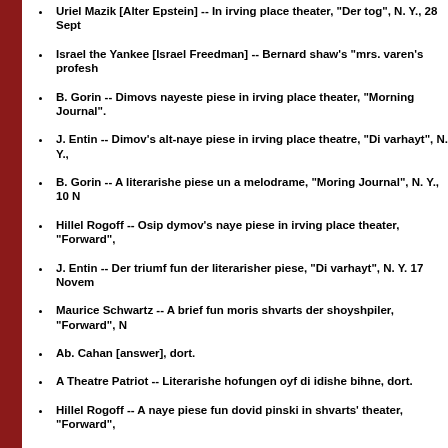Uriel Mazik [Alter Epstein] -- In irving place theater, "Der tog", N. Y., 28 Sept
Israel the Yankee [Israel Freedman] -- Bernard shaw's "mrs. varen's profesh
B. Gorin -- Dimovs nayeste piese in irving place theater, "Morning Journal".
J. Entin -- Dimov's alt-naye piese in irving place theatre, "Di varhayt", N. Y.,
B. Gorin -- A literarishe piese un a melodrame, "Moring Journal", N. Y., 10 N
Hillel Rogoff -- Osip dymov's naye piese in irving place theater, "Forward",
J. Entin -- Der triumf fun der literarisher piese, "Di varhayt", N. Y. 17 Novem
Maurice Schwartz -- A brief fun moris shvarts der shoyshpiler, "Forward", N
Ab. Cahan [answer], dort.
A Theatre Patriot -- Literarishe hofungen oyf di idishe bihne, dort.
Hillel Rogoff -- A naye piese fun dovid pinski in shvarts' theater, "Forward",
J. Entin -- Dovid pinski's interesante piese, "Di varhayt", N. Y., 15 Decembe
Uriel Mazik Saul Raskin -- Tsvey meyunungen vegon dovid pinski's nayeste p